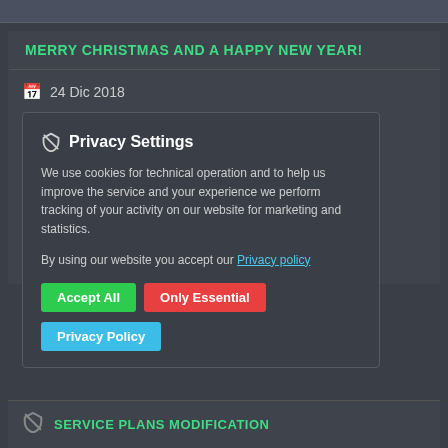MERRY CHRISTMAS AND A HAPPY NEW YEAR!
24 Dic 2018
We are proud to report that this year: - we  delivered ... verage Worldwide response ... monitoring review). ... has been transferred by ... uch more internally. - we ... th an average score of 9.79 ... oliant GDPR-ready privacy
[Figure (screenshot): Privacy Settings cookie consent popup overlay with Accept All (green), Only Essential (red), and Privacy Policy (blue) buttons]
SERVICE PLANS MODIFICATION